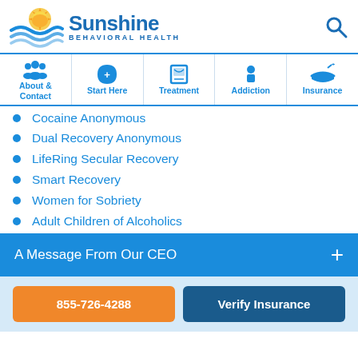[Figure (logo): Sunshine Behavioral Health logo with sun and wave graphic]
About & Contact | Start Here | Treatment | Addiction | Insurance
Cocaine Anonymous
Dual Recovery Anonymous
LifeRing Secular Recovery
Smart Recovery
Women for Sobriety
Adult Children of Alcoholics
A Message From Our CEO
855-726-4288
Verify Insurance